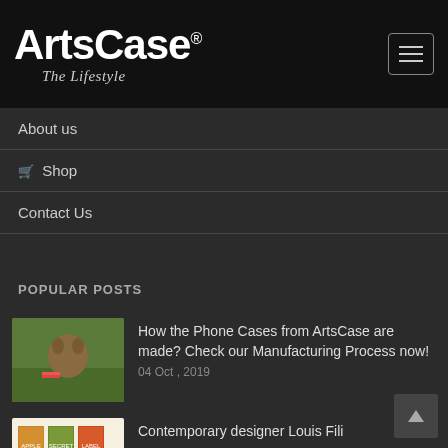ArtsCase® The Lifestyle
About us
🛒 Shop
Contact Us
POPULAR POSTS
[Figure (photo): Thumbnail photo of a squirrel or animal outdoors with a phone case visible]
How the Phone Cases from ArtsCase are made? Check our Manufacturing Process now!
04 Oct , 2019
[Figure (photo): Thumbnail image of vintage book covers or labels with warm yellow and brown tones]
Contemporary designer Louis Fili
16 Sep , 2016
[Figure (photo): Gray placeholder thumbnail]
ArtsCase Talk – Project M
30 Nov , 2016